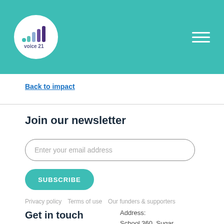[Figure (logo): Voice 21 logo — circular white badge with coloured bar-chart icon and text 'voice 21' beneath it, on teal header background]
Back to impact
Join our newsletter
Enter your email address
SUBSCRIBE
Privacy policy   Terms of use   Our funders & supporters
Address:
School 360, Sugar House Lane,
Get in touch